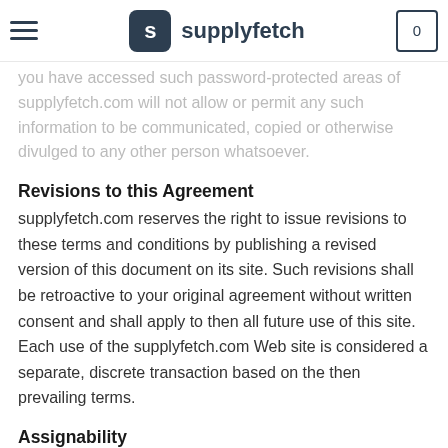supplyfetch
you have accessed such password-protected areas of supplyfetch.com will not allow or permit any such information to be communicated, copied or otherwise divulged to any other person whatsoever.
Revisions to this Agreement
supplyfetch.com reserves the right to issue revisions to these terms and conditions by publishing a revised version of this document on its site. Such revisions shall be retroactive to your original agreement without written consent and shall apply to then all future use of this site. Each use of the supplyfetch.com Web site is considered a separate, discrete transaction based on the then prevailing terms.
Assignability
These terms and conditions and any license granted to use supplyfetch.com may not be assigned or sublet by you without supplyfetch.com's express written consent in